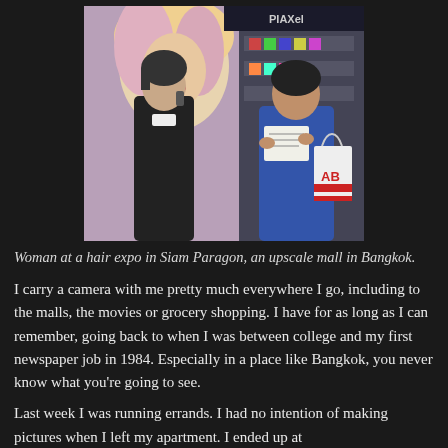[Figure (photo): A woman at a hair expo in Siam Paragon mall in Bangkok. In the foreground a young person with short dark hair stands in front of a promotional poster of a blonde woman. To the right an older woman in a denim outfit reads a brochure and holds a shopping bag.]
Woman at a hair expo in Siam Paragon, an upscale mall in Bangkok.
I carry a camera with me pretty much everywhere I go, including to the malls, the movies or grocery shopping. I have for as long as I can remember, going back to when I was between college and my first newspaper job in 1984. Especially in a place like Bangkok, you never know what you're going to see.
Last week I was running errands. I had no intention of making pictures when I left my apartment. I ended up at